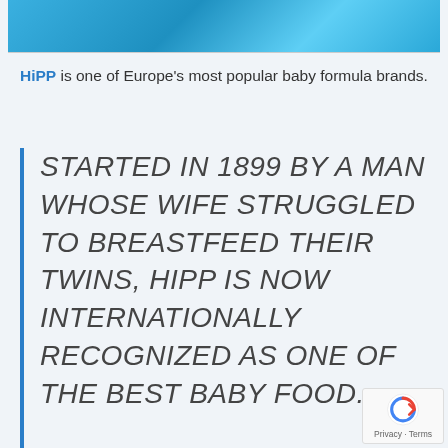[Figure (photo): Top banner image with blue background showing baby-related imagery for HiPP brand]
HiPP is one of Europe's most popular baby formula brands.
STARTED IN 1899 BY A MAN WHOSE WIFE STRUGGLED TO BREASTFEED THEIR TWINS, HIPP IS NOW INTERNATIONALLY RECOGNIZED AS ONE OF THE BEST BABY FOOD...